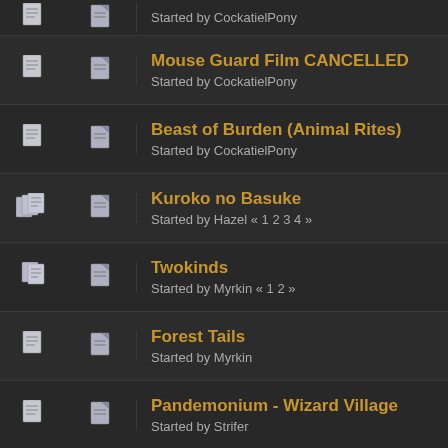Mouse Guard Film CANCELLED — Started by CockatielPony
Beast of Burden (Animal Rites) — Started by CockatielPony
Kuroko no Basuke — Started by Hazel « 1 2 3 4 »
Twokinds — Started by Myrkin « 1 2 »
Forest Tails — Started by Myrkin
Pandemonium - Wizard Village — Started by Strifer
Pages: [1]
Fiver's Honeycomb » Beyond the Down » Tassel's Media Tree » Hick